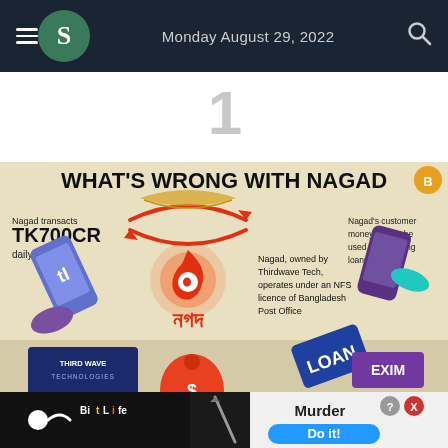Monday August 29, 2022
1
[Figure (infographic): Infographic titled 'WHAT'S WRONG WITH NAGAD' showing that Nagad transacts TK700CR daily, is owned by Thirdwave Tech, operates under an NFS licence of Bangladesh Post Office, Nagad's customer money cannot be used for obtaining loans, and Thirdwave used Nagad's customer funds. Shows phones, money bag, LOAN card, EXIM bank, Third Wave Technologies logo, and Nagad logo.]
[Figure (infographic): Advertisement banner: BitLife - Murder Do it!]